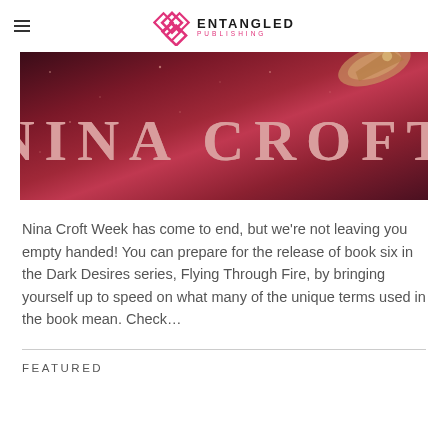ENTANGLED PUBLISHING
[Figure (illustration): Banner image with dark red/maroon background showing a spaceship in the upper right corner. Large text reads 'NINA CROFT' in pale pink letters.]
Nina Croft Week has come to end, but we’re not leaving you empty handed! You can prepare for the release of book six in the Dark Desires series, Flying Through Fire, by bringing yourself up to speed on what many of the unique terms used in the book mean. Check…
FEATURED